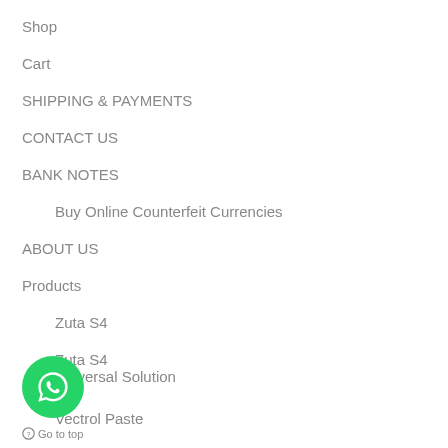Shop
Cart
SHIPPING & PAYMENTS
CONTACT US
BANK NOTES
Buy Online Counterfeit Currencies
ABOUT US
Products
Zuta S4
Zuta S4
Universal Solution
Vectrol Paste